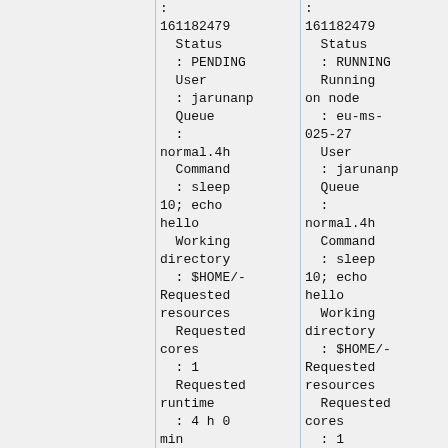:
161182479
  Status
  : PENDING
  User
  : jarunanp
  Queue
  : normal.4h
  Command
  : sleep 10; echo hello
  Working directory
  : $HOME/-
Requested resources
  Requested cores
  : 1
  Requested runtime
  : 4 h 0 min
:
161182479
  Status
  : RUNNING
  Running on node
  : eu-ms-025-27
  User
  : jarunanp
  Queue
  : normal.4h
  Command
  : sleep 10; echo hello
  Working directory
  : $HOME/-
Requested resources
  Requested cores
  : 1